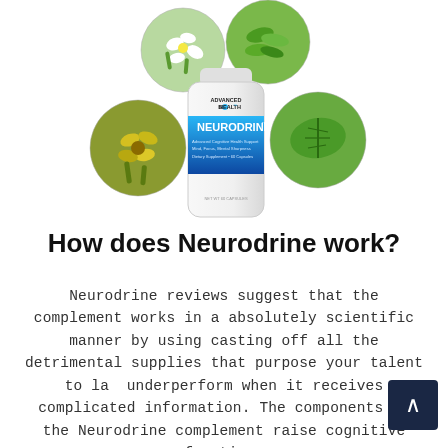[Figure (photo): A supplement bottle labeled 'Neurodrine' by Advanced Biohealth, surrounded by four circular images of green herbs and plants arranged around it.]
How does Neurodrine work?
Neurodrine reviews suggest that the complement works in a absolutely scientific manner by using casting off all the detrimental supplies that purpose your talent to la underperform when it receives complicated information. The components in the Neurodrine complement raise cognitive function.